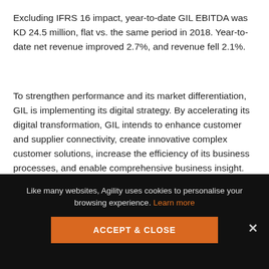Excluding IFRS 16 impact, year-to-date GIL EBITDA was KD 24.5 million, flat vs. the same period in 2018. Year-to-date net revenue improved 2.7%, and revenue fell 2.1%.
To strengthen performance and its market differentiation, GIL is implementing its digital strategy. By accelerating its digital transformation, GIL intends to enhance customer and supplier connectivity, create innovative complex customer solutions, increase the efficiency of its business processes, and enable comprehensive business insight.
Agility's Infrastructure Companies
Like many websites, Agility uses cookies to personalise your browsing experience. Learn more
ACCEPT & CLOSE